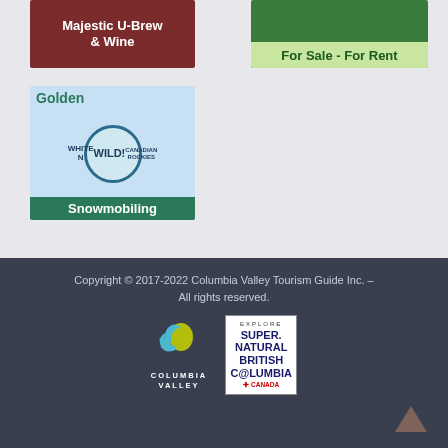[Figure (illustration): Advertisement banner for Majestic U-Brew & Wine with dark red/maroon background and white bold text]
[Figure (illustration): Advertisement banner for real estate showing condos/houses with green overlay text 'For Sale - For Rent']
[Figure (illustration): Advertisement for Golden Snowmobiling featuring White N Wild logo and snowmobilers on snow, teal/green text headers]
Copyright © 2017-2022 Columbia Valley Tourism Guide Inc. – All rights reserved.
[Figure (logo): Columbia Valley logo with stylized blue and yellow swirl graphic above text COLUMBIA VALLEY]
[Figure (logo): Explore Super Natural British Columbia Canada logo in white box with border]